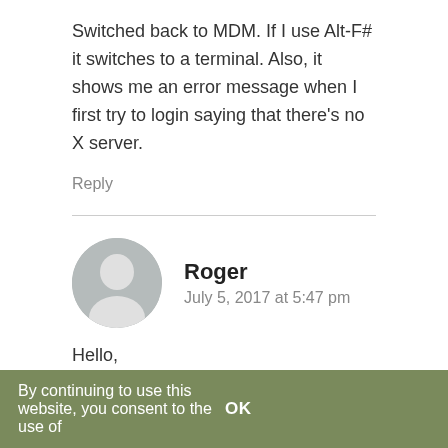Switched back to MDM. If I use Alt-F# it switches to a terminal. Also, it shows me an error message when I first try to login saying that there's no X server.
Reply
Roger
July 5, 2017 at 5:47 pm
[Figure (illustration): Generic avatar silhouette icon in gray circle]
Hello,
Update from 18.1 to 18.2 no problem with still mdm windows connection manager

Following example on this blog,

-Try to switch to lightdm (for guest session)work but no more local network access Win7 with smb (work
By continuing to use this website, you consent to the use of   OK